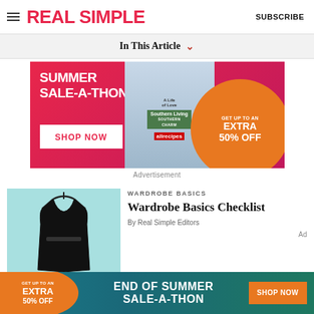REAL SIMPLE | SUBSCRIBE
In This Article
[Figure (infographic): Summer Sale-A-Thon advertisement banner with pink background, magazine covers, and orange circle saying GET UP TO AN EXTRA 50% OFF with SHOP NOW button]
Advertisement
WARDROBE BASICS
Wardrobe Basics Checklist
By Real Simple Editors
[Figure (infographic): Bottom banner ad: END OF SUMMER SALE-A-THON with GET UP TO AN EXTRA 50% OFF on orange circle and SHOP NOW button]